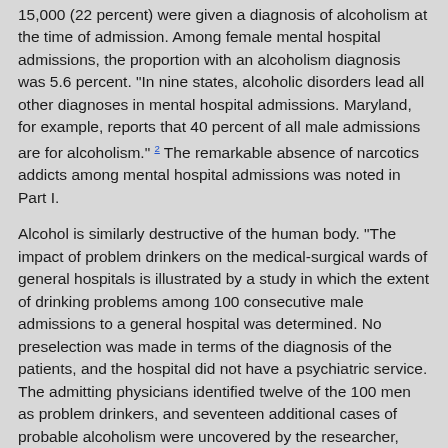15,000 (22 percent) were given a diagnosis of alcoholism at the time of admission. Among female mental hospital admissions, the proportion with an alcoholism diagnosis was 5.6 percent. "In nine states, alcoholic disorders lead all other diagnoses in mental hospital admissions. Maryland, for example, reports that 40 percent of all male admissions are for alcoholism." 2 The remarkable absence of narcotics addicts among mental hospital admissions was noted in Part I.
Alcohol is similarly destructive of the human body. "The impact of problem drinkers on the medical-surgical wards of general hospitals is illustrated by a study in which the extent of drinking problems among 100 consecutive male admissions to a general hospital was determined. No preselection was made in terms of the diagnosis of the patients, and the hospital did not have a psychiatric service. The admitting physicians identified twelve of the 100 men as problem drinkers, and seventeen additional cases of probable alcoholism were uncovered by the researcher, making a total of 29 percent." 3
Whether alcohol is solely responsible for this damage to mind and body, or whether defective nutrition also plays a role, has long been debated. Alcohol contains calories; indeed, a heavy drinker may consume half or more of his caloric needs in the form of alcohol. The result is to reduce quite drastically his consumption of ...